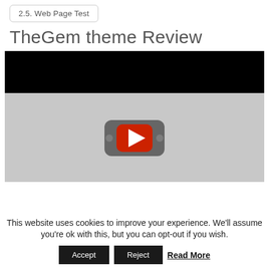2.5. Web Page Test
TheGem theme Review
[Figure (screenshot): Video player thumbnail showing a YouTube logo/play button on a grey background with a black bar at the top]
This website uses cookies to improve your experience. We'll assume you're ok with this, but you can opt-out if you wish.
Accept | Reject | Read More